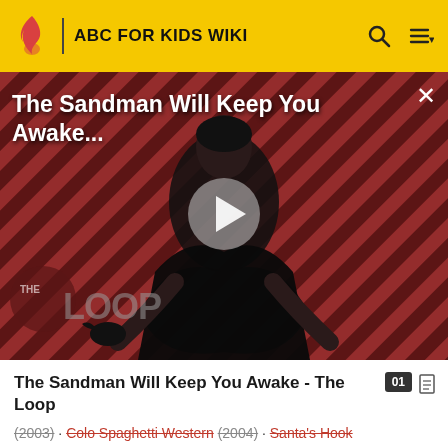ABC FOR KIDS WIKI
[Figure (screenshot): Video thumbnail showing a dark-caped figure against a diagonal striped red/dark background with 'THE LOOP' watermark. Title overlay reads 'The Sandman Will Keep You Awake...' with a play button in the center.]
The Sandman Will Keep You Awake - The Loop
(2003) · Cold Spaghetti Western (2004) · Santa's Hook (2004) · LIVE Hot Potatoes! (2005) · Sailing Around the World (2005) · Here Comes The Big Red Car (2006) · It's Time to Wake Up Jeff! (2006) · Racing to the Rainbow